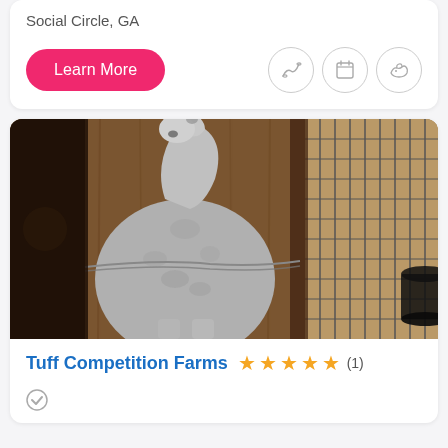Social Circle, GA
Learn More
[Figure (photo): A grey horse standing in a wooden stable stall, facing the camera. A wire or rope crosses in front of the horse. To the right is a metal grid partition and a black bucket or feeder is visible on the right edge.]
Tuff Competition Farms ★★★★★ (1)